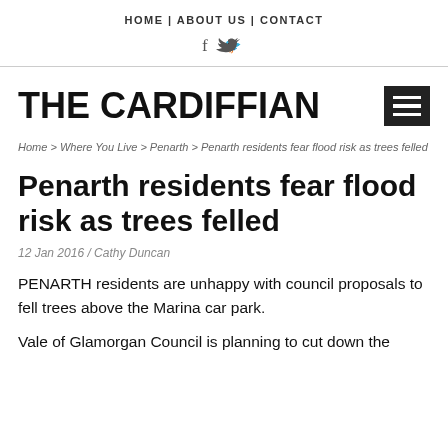HOME | ABOUT US | CONTACT
[Figure (other): Social media icons: Facebook (f) and Twitter (bird)]
THE CARDIFFIAN
Home > Where You Live > Penarth > Penarth residents fear flood risk as trees felled
Penarth residents fear flood risk as trees felled
12 Jan 2016 / Cathy Duncan
PENARTH residents are unhappy with council proposals to fell trees above the Marina car park.
Vale of Glamorgan Council is planning to cut down the